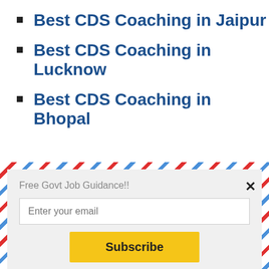Best CDS Coaching in Jaipur
Best CDS Coaching in Lucknow
Best CDS Coaching in Bhopal
[Figure (infographic): Email subscription popup with airmail border design. Contains title 'Free Govt Job Guidance!!', email input field, Subscribe button, and 'powered by MailMunch' footer. Has a close (x) button.]